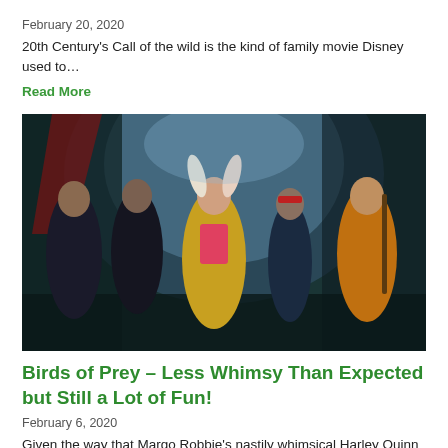February 20, 2020
20th Century's Call of the wild is the kind of family movie Disney used to…
Read More
[Figure (photo): Scene from Birds of Prey movie showing five female characters in costume standing together in a dark setting]
Birds of Prey – Less Whimsy Than Expected but Still a Lot of Fun!
February 6, 2020
Given the way that Margo Robbie's nastily whimsical Harley Quinn was the lone standout in…